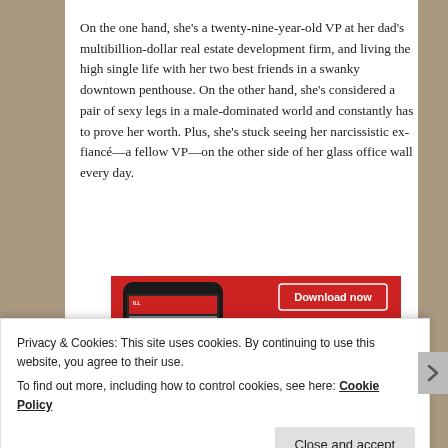On the one hand, she's a twenty-nine-year-old VP at her dad's multibillion-dollar real estate development firm, and living the high single life with her two best friends in a swanky downtown penthouse. On the other hand, she's considered a pair of sexy legs in a male-dominated world and constantly has to prove her worth. Plus, she's stuck seeing her narcissistic ex-fiancé—a fellow VP—on the other side of her glass office wall every day.
[Figure (screenshot): Red advertisement banner showing a smartphone with an audio player app open, and 'Download now' button]
Privacy & Cookies: This site uses cookies. By continuing to use this website, you agree to their use.
To find out more, including how to control cookies, see here: Cookie Policy
Close and accept